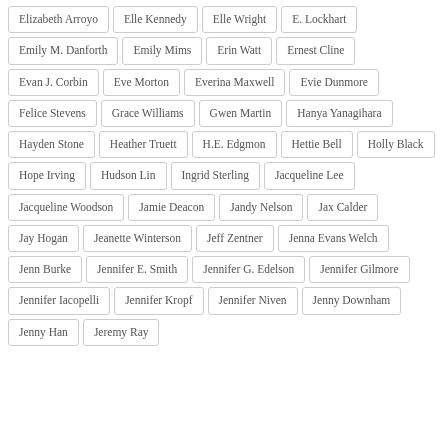Elizabeth Arroyo
Elle Kennedy
Elle Wright
E. Lockhart
Emily M. Danforth
Emily Mims
Erin Watt
Ernest Cline
Evan J. Corbin
Eve Morton
Everina Maxwell
Evie Dunmore
Felice Stevens
Grace Williams
Gwen Martin
Hanya Yanagihara
Hayden Stone
Heather Truett
H.E. Edgmon
Hettie Bell
Holly Black
Hope Irving
Hudson Lin
Ingrid Sterling
Jacqueline Lee
Jacqueline Woodson
Jamie Deacon
Jandy Nelson
Jax Calder
Jay Hogan
Jeanette Winterson
Jeff Zentner
Jenna Evans Welch
Jenn Burke
Jennifer E. Smith
Jennifer G. Edelson
Jennifer Gilmore
Jennifer Iacopelli
Jennifer Kropf
Jennifer Niven
Jenny Downham
Jenny Han
Jeremy Ray